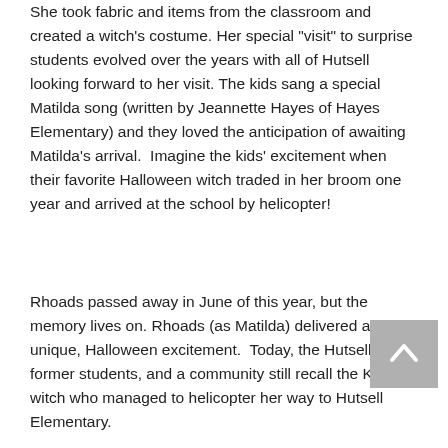She took fabric and items from the classroom and created a witch's costume. Her special "visit" to surprise students evolved over the years with all of Hutsell looking forward to her visit. The kids sang a special Matilda song (written by Jeannette Hayes of Hayes Elementary) and they loved the anticipation of awaiting Matilda's arrival.  Imagine the kids' excitement when their favorite Halloween witch traded in her broom one year and arrived at the school by helicopter!
Rhoads passed away in June of this year, but the memory lives on. Rhoads (as Matilda) delivered a unique, Halloween excitement.  Today, the Hutsell staff, former students, and a community still recall the Katy witch who managed to helicopter her way to Hutsell Elementary.